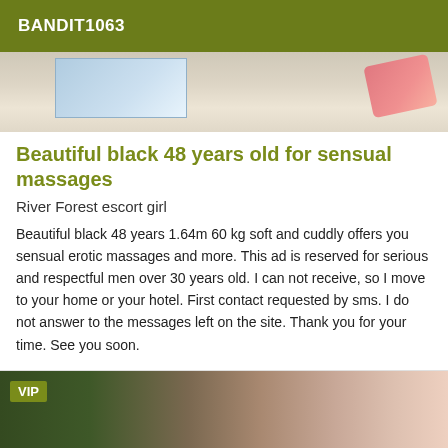BANDIT1063
[Figure (photo): Top portion of a bedroom or indoor scene with warm tones, a window visible in the background and a pink pillow on the right]
Beautiful black 48 years old for sensual massages
River Forest escort girl
Beautiful black 48 years 1.64m 60 kg soft and cuddly offers you sensual erotic massages and more. This ad is reserved for serious and respectful men over 30 years old. I can not receive, so I move to your home or your hotel. First contact requested by sms. I do not answer to the messages left on the site. Thank you for your time. See you soon.
[Figure (photo): Photo of a woman with dark hair wearing a low-cut white top, outdoors with green plants in background, VIP badge overlay in top-left corner]